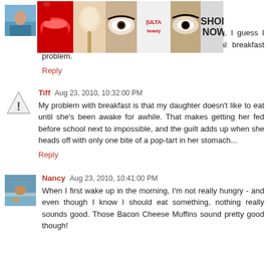[Figure (photo): Small avatar photo of a person outdoors]
[Figure (photo): Ulta Beauty advertisement banner with makeup images and SHOP NOW text]
because I don't have time before school to make anything. I guess I could wake-up earlier :) Maybe that is the real breakfast problem.
Reply
[Figure (illustration): Warning triangle icon with exclamation mark]
Tiff  Aug 23, 2010, 10:32:00 PM
My problem with breakfast is that my daughter doesn't like to eat until she's been awake for awhile. That makes getting her fed before school next to impossible, and the guilt adds up when she heads off with only one bite of a pop-tart in her stomach...
Reply
[Figure (photo): Small avatar photo of Nancy outdoors with a dog]
Nancy  Aug 23, 2010, 10:41:00 PM
When I first wake up in the morning, I'm not really hungry - and even though I know I should eat something, nothing really sounds good. Those Bacon Cheese Muffins sound pretty good though!